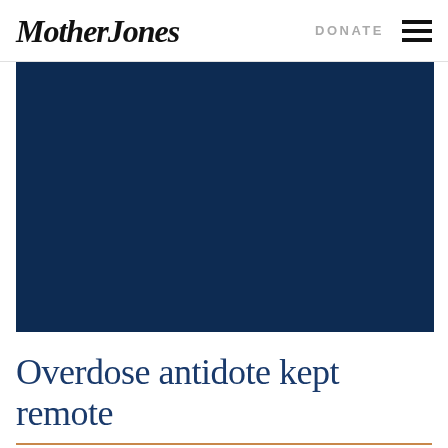Mother Jones  DONATE
[Figure (photo): Dark navy blue hero image with no visible content]
Overdose antidote kept remote
Jan. 04